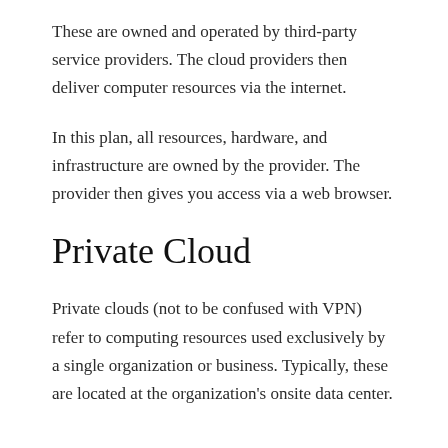These are owned and operated by third-party service providers. The cloud providers then deliver computer resources via the internet.
In this plan, all resources, hardware, and infrastructure are owned by the provider. The provider then gives you access via a web browser.
Private Cloud
Private clouds (not to be confused with VPN) refer to computing resources used exclusively by a single organization or business. Typically, these are located at the organization's onsite data center.